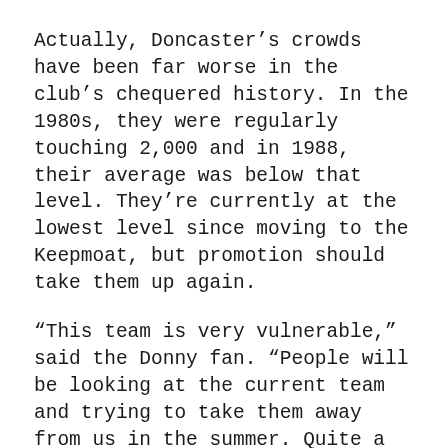Actually, Doncaster's crowds have been far worse in the club's chequered history. In the 1980s, they were regularly touching 2,000 and in 1988, their average was below that level. They're currently at the lowest level since moving to the Keepmoat, but promotion should take them up again.
“This team is very vulnerable,” said the Donny fan. “People will be looking at the current team and trying to take them away from us in the summer. Quite a few clubs are interested in Marquis, for example.”
John Marquis joined the club from Millwall in the close season of 2016 and had scored 26 goals before facing Mansfield. He’s on a two-year deal, but his success in 2016-17 has meant he’s been targeted by clubs like Norwich and Ipswich. From an economic perspective, Doncaster may be wise to sell him while his stock is